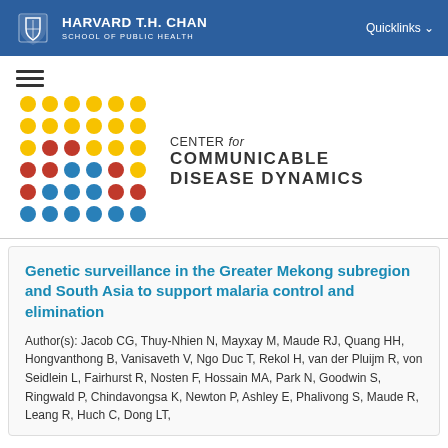HARVARD T.H. CHAN SCHOOL OF PUBLIC HEALTH | Quicklinks
[Figure (logo): Center for Communicable Disease Dynamics logo with colorful dot grid and text]
Genetic surveillance in the Greater Mekong subregion and South Asia to support malaria control and elimination
Author(s): Jacob CG, Thuy-Nhien N, Mayxay M, Maude RJ, Quang HH, Hongvanthong B, Vanisaveth V, Ngo Duc T, Rekol H, van der Pluijm R, von Seidlein L, Fairhurst R, Nosten F, Hossain MA, Park N, Goodwin S, Ringwald P, Chindavongsa K, Newton P, Ashley E, Phalivong S, Maude R, Leang R, Huch C, Dong LT,